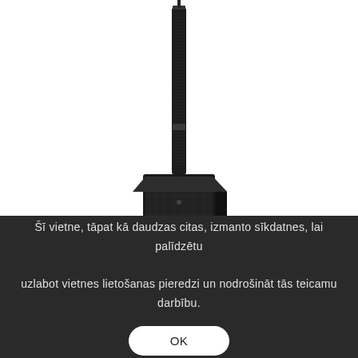[Figure (photo): A black column speaker / PA system with a tall slender speaker column mounted on a square subwoofer base unit, photographed against a white background.]
Šī vietne, tāpat kā daudzas citas, izmanto sīkdatnes, lai palīdzētu uzlabot vietnes lietošanas pieredzi un nodrošināt tās teicamu darbību.
OK